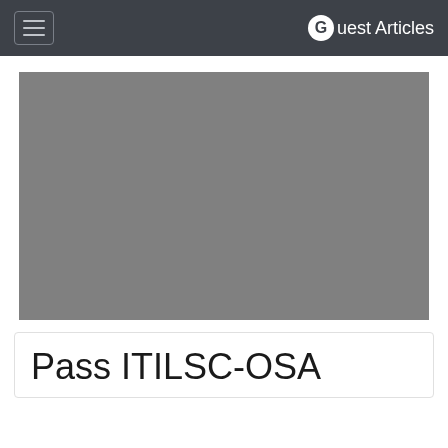Guest Articles
[Figure (photo): Large gray rectangular placeholder image for an article hero image]
Pass ITILSC-OSA